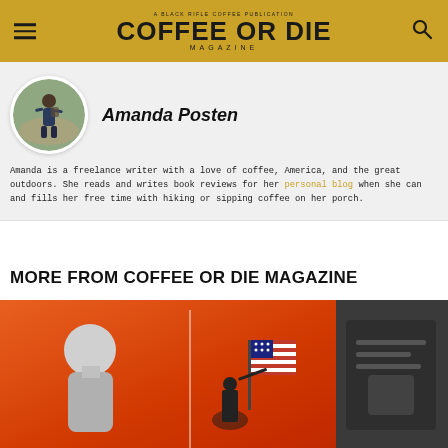COFFEE OR DIE MAGAZINE
[Figure (photo): Circular headshot of Amanda Posten, a woman with a backpack outdoors on a trail]
Amanda Posten
Amanda is a freelance writer with a love of coffee, America, and the great outdoors. She reads and writes book reviews for her personal blog when she can and fills her free time with hiking or sipping coffee on her porch.
MORE FROM COFFEE OR DIE MAGAZINE
[Figure (photo): Large card showing a bald man and a silhouette of a soldier with American flag on orange background]
[Figure (photo): Small dark card on the right side, partially visible]